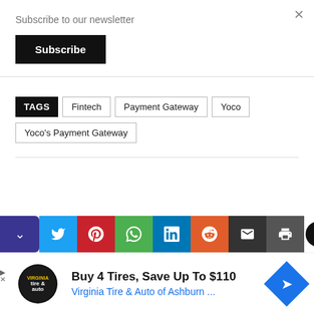Subscribe to our newsletter
Subscribe
TAGS  Fintech  Payment Gateway  Yoco  Yoco's Payment Gateway
[Figure (screenshot): Social share bar with Twitter, Pinterest, WhatsApp, LinkedIn, Reddit, Email, Print buttons]
[Figure (infographic): Advertisement: Buy 4 Tires, Save Up To $110 - Virginia Tire & Auto of Ashburn]